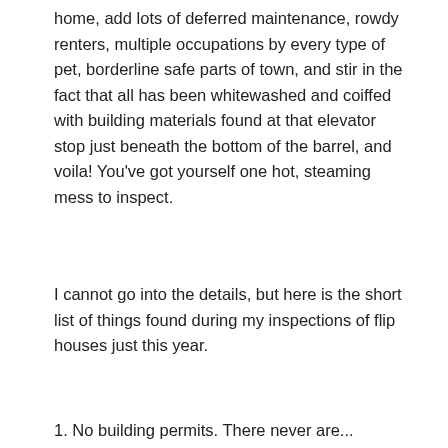home, add lots of deferred maintenance, rowdy renters, multiple occupations by every type of pet, borderline safe parts of town, and stir in the fact that all has been whitewashed and coiffed with building materials found at that elevator stop just beneath the bottom of the barrel, and voila! You've got yourself one hot, steaming mess to inspect.
I cannot go into the details, but here is the short list of things found during my inspections of flip houses just this year.
1. No building permits. There never are...